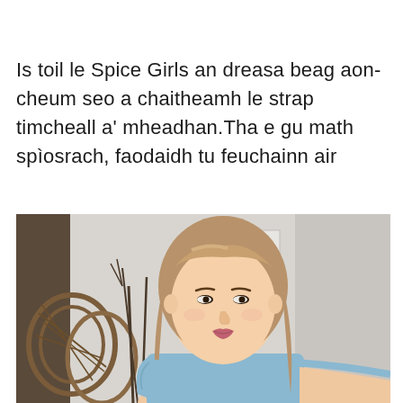Is toil le Spice Girls an dreasa beag aon-cheum seo a chaitheamh le strap timcheall a' mheadhan.Tha e gu math spìosrach, faodaidh tu feuchainn air
[Figure (photo): A young Asian woman with long wavy light brown hair, wearing a light blue sleeveless top with ruffled collar, smiling slightly at the camera. Background shows a neutral grey/white wall, a white electrical box, and decorative dried branches in a wicker/rattan stand on the left.]